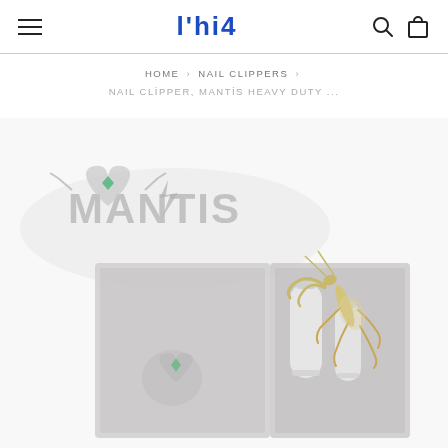≡   l'hi4   🔍 🛍
HOME > NAIL CLIPPERS > NAIL CLIPPER, MANTİS HEAVY DUTY ...
[Figure (photo): Product photo showing the Mantis brand logo (stylized text with praying mantis imagery and green heart), an open gray gift box containing nail clipper tools, with a golden/cream colored praying mantis insect perched on the top right of the box.]